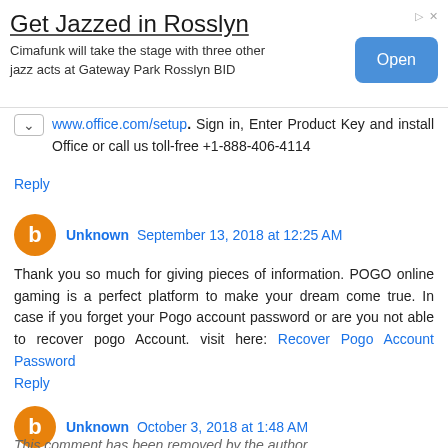[Figure (screenshot): Advertisement banner: 'Get Jazzed in Rosslyn' with Open button]
www.office.com/setup. Sign in, Enter Product Key and install Office or call us toll-free +1-888-406-4114
Reply
Unknown September 13, 2018 at 12:25 AM
Thank you so much for giving pieces of information. POGO online gaming is a perfect platform to make your dream come true. In case if you forget your Pogo account password or are you not able to recover pogo Account. visit here: Recover Pogo Account Password
Reply
Unknown October 3, 2018 at 1:48 AM
This comment has been removed by the author.